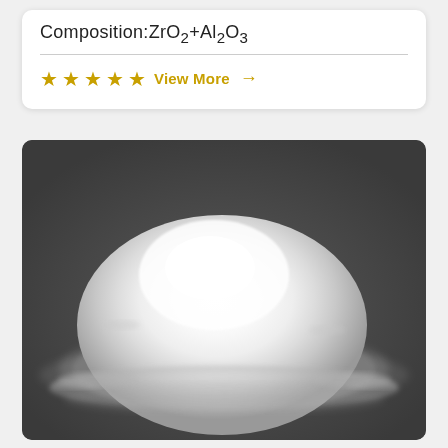Composition:ZrO2+Al2O3
★★★★★ View More →
[Figure (photo): A pile of white ceramic powder (ZrO2+Al2O3 composition) photographed on a dark grey surface. The powder forms a rounded mound shape with fine granular texture, white in the center fading to scattered particles at the edges.]